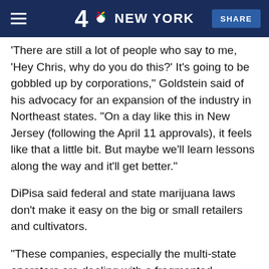4 NBC NEW YORK  SHARE
'There are still a lot of people who say to me, 'Hey Chris, why do you do this?' It's going to be gobbled up by corporations," Goldstein said of his advocacy for an expansion of the industry in Northeast states. "On a day like this in New Jersey (following the April 11 approvals), it feels like that a little bit. But maybe we'll learn lessons along the way and it'll get better."
DiPisa said federal and state marijuana laws don't make it easy on the big or small retailers and cultivators.
"These companies, especially the multi-state operators are dealing with a fragmented approach that isn't usual in other industries," he said. "There is a different set of regulations in every state they're operating in. It's not an efficient way to run a business, but at any dealing with the landscape, it'll"